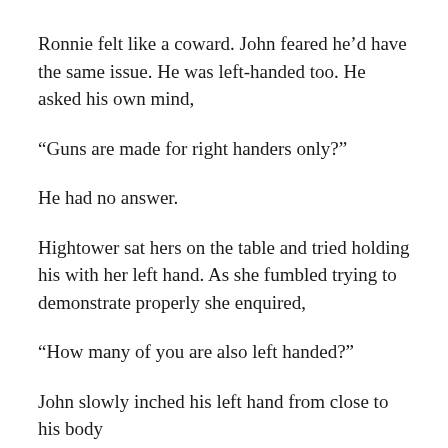Ronnie felt like a coward. John feared he’d have the same issue. He was left-handed too. He asked his own mind,
“Guns are made for right handers only?”
He had no answer.
Hightower sat hers on the table and tried holding his with her left hand. As she fumbled trying to demonstrate properly she enquired,
“How many of you are also left handed?”
John slowly inched his left hand from close to his body